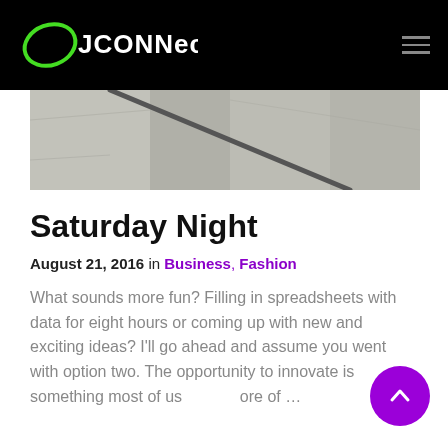JCONNECT
[Figure (photo): Partial view of a concrete surface with a dark line/crack running diagonally]
Saturday Night
August 21, 2016 in Business, Fashion
What sounds more fun? Filling in spreadsheets with data for eight hours or coming up with new and exciting ideas? I'll go ahead and assume you went with option two. The opportunity to innovate is something most of us … ore of …